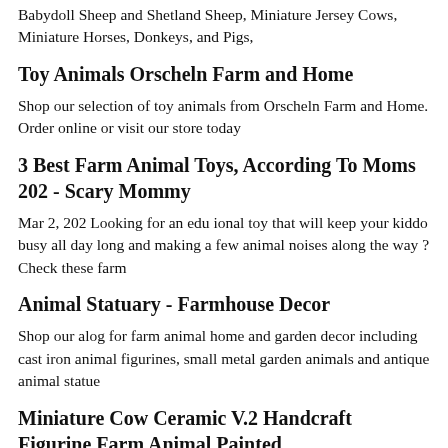Babydoll Sheep and Shetland Sheep, Miniature Jersey Cows, Miniature Horses, Donkeys, and Pigs,
Toy Animals Orscheln Farm and Home
Shop our selection of toy animals from Orscheln Farm and Home. Order online or visit our store today
3 Best Farm Animal Toys, According To Moms 202 - Scary Mommy
Mar 2, 202 Looking for an edu ional toy that will keep your kiddo busy all day long and making a few animal noises along the way ? Check these farm
Animal Statuary - Farmhouse Decor
Shop our alog for farm animal home and garden decor including cast iron animal figurines, small metal garden animals and antique animal statue
Miniature Cow Ceramic V.2 Handcraft Figurine Farm Animal Painted